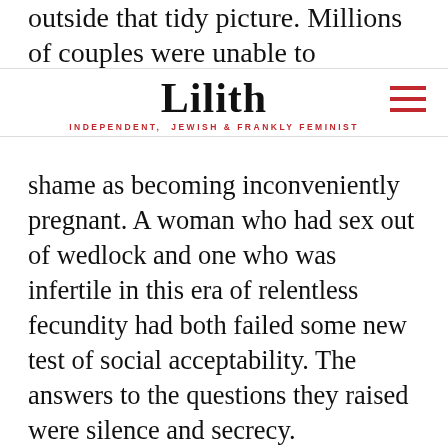outside that tidy picture. Millions of couples were unable to conceive and did not yet have
Lilith — INDEPENDENT, JEWISH & FRANKLY FEMINIST
shame as becoming inconveniently pregnant. A woman who had sex out of wedlock and one who was infertile in this era of relentless fecundity had both failed some new test of social acceptability. The answers to the questions they raised were silence and secrecy.
Many of the same demographic and social forces that had launched the baby boom propelled the explosion in unwanted pregnancies and adoptions. Birth rates had dropped during the Depression and the war,